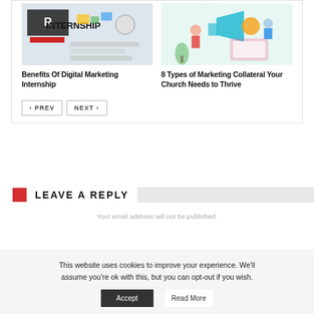[Figure (photo): Internship collage image with the word INTERNSHIP in large letters, colorful design elements]
[Figure (illustration): Marketing collateral illustration with people, megaphone, and mobile screens]
Benefits Of Digital Marketing Internship
8 Types of Marketing Collateral Your Church Needs to Thrive
‹ PREV   NEXT ›
LEAVE A REPLY
Your email address will not be published.
This website uses cookies to improve your experience. We'll assume you're ok with this, but you can opt-out if you wish.
Accept   Read More